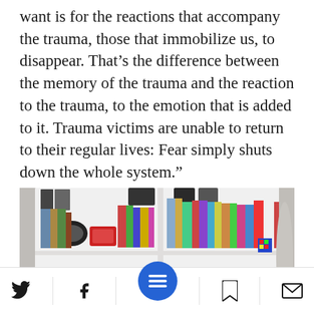want is for the reactions that accompany the trauma, those that immobilize us, to disappear. That’s the difference between the memory of the trauma and the reaction to the trauma, to the emotion that is added to it. Trauma victims are unable to return to their regular lives: Fear simply shuts down the whole system.”
[Figure (photo): Two children sitting at a desk with their backs to the camera, facing a bookshelf filled with books, a tablet screen visible, inside what appears to be a room.]
Social share icons: Twitter, Facebook, Menu (hamburger), Bookmark, Email